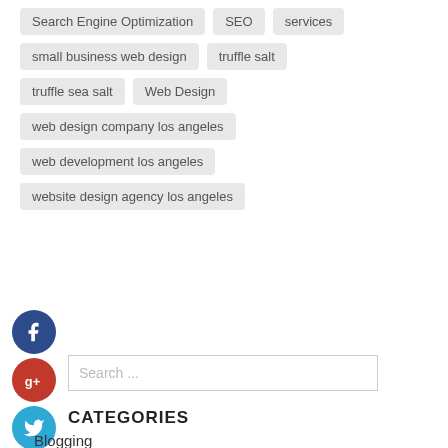Search Engine Optimization
SEO
services
small business web design
truffle salt
truffle sea salt
Web Design
web design company los angeles
web development los angeles
website design agency los angeles
[Figure (infographic): Social media icons: Facebook (dark blue circle with f), Google+ (red circle with g+), Twitter (blue circle with bird), Plus (dark blue circle with +)]
Search ...
CATEGORIES
Blogging